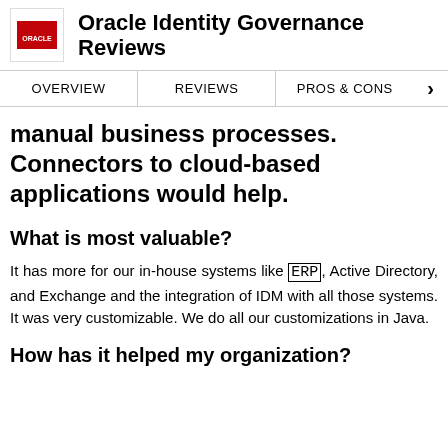Oracle Identity Governance Reviews
OVERVIEW | REVIEWS | PROS & CONS
manual business processes. Connectors to cloud-based applications would help.
What is most valuable?
It has more for our in-house systems like ERP, Active Directory, and Exchange and the integration of IDM with all those systems. It was very customizable. We do all our customizations in Java.
How has it helped my organization?